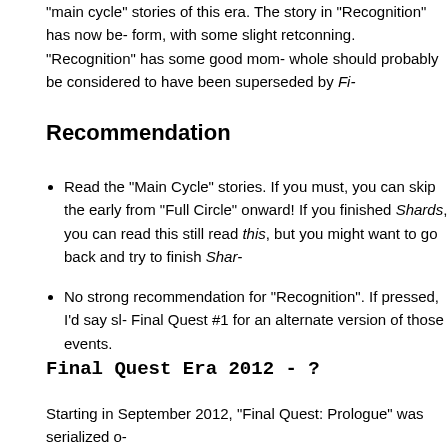"main cycle" stories of this era. The story in "Recognition" has now be- form, with some slight retconning. "Recognition" has some good mom- whole should probably be considered to have been superseded by Fi-
Recommendation
Read the "Main Cycle" stories. If you must, you can skip the early from "Full Circle" onward! If you finished Shards, you can read this still read this, but you might want to go back and try to finish Shar-
No strong recommendation for "Recognition". If pressed, I'd say sl- Final Quest #1 for an alternate version of those events.
Final Quest Era 2012 - ?
Starting in September 2012, "Final Quest: Prologue" was serialized o- went up until, in March 2013, Final Quest was picked up for publicatio- Prologue" was published by Dark Horse in October 2013 and regular
"Final Quest: Prologue"
The first half of "Final Quest: Prologue" is available on the ElfQuest si- BoingBoing)